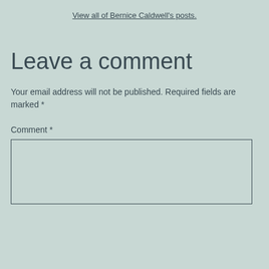View all of Bernice Caldwell's posts.
Leave a comment
Your email address will not be published. Required fields are marked *
Comment *
[Figure (other): Empty comment text area input box]